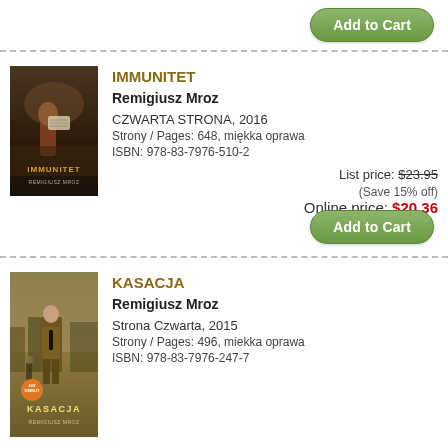[Figure (other): Add to Cart button at top of page]
[Figure (illustration): Book cover for IMMUNITET by Remigiusz Mroz - dark atmospheric cover with figure holding newspaper]
IMMUNITET
Remigiusz Mroz
CZWARTA STRONA, 2016
Strony / Pages: 648, miękka oprawa
ISBN: 978-83-7976-510-2
List price: $23.95
(Save 15% off)
Online price: $20.36
[Figure (other): Add to Cart button]
[Figure (illustration): Book cover for KASACJA by Remigiusz Mroz - man in suit, urban backdrop]
KASACJA
Remigiusz Mroz
Strona Czwarta, 2015
Strony / Pages: 496, miekka oprawa
ISBN: 978-83-7976-247-7